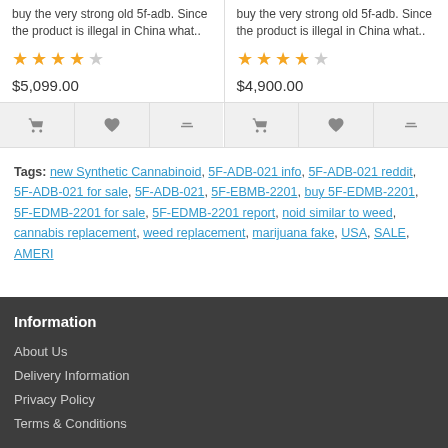buy the very strong old 5f-adb. Since the product is illegal in China what..
$5,099.00
buy the very strong old 5f-adb. Since the product is illegal in China what..
$4,900.00
Tags: new Synthetic Cannabinoid, 5F-ADB-021 info, 5F-ADB-021 reddit, 5F-ADB-021 for sale, 5F-ADB-021, 5F-EBMB-2201, buy 5F-EDMB-2201, 5F-EDMB-2201 for sale, 5F-EDMB-2201 report, noid similar to weed, cannabis replacement, weed replacement, marijuana fake, USA, SALE, AMERI
Information
About Us
Delivery Information
Privacy Policy
Terms & Conditions